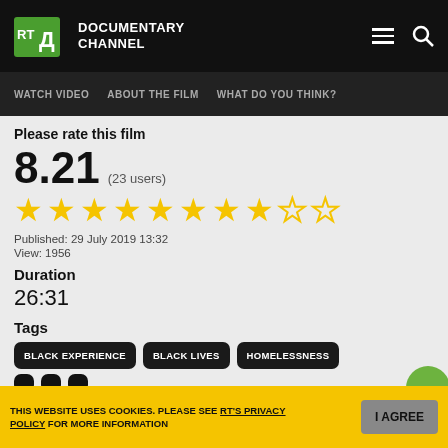[Figure (logo): RT Documentary Channel logo with green RT cube icon and white text 'DOCUMENTARY CHANNEL']
WATCH VIDEO   ABOUT THE FILM   WHAT DO YOU THINK?
Please rate this film
8.21 (23 users)
[Figure (other): Star rating display showing 8.21 out of 10 represented as approximately 8 filled gold stars and 2 empty stars]
Published: 29 July 2019 13:32
View: 1956
Duration
26:31
Tags
BLACK EXPERIENCE
BLACK LIVES
HOMELESSNESS
THIS WEBSITE USES COOKIES. PLEASE SEE RT'S PRIVACY POLICY FOR MORE INFORMATION
I AGREE